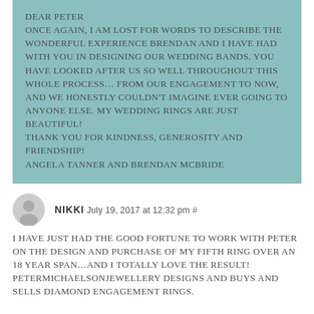Dear Peter
Once again, I am lost for words to describe the wonderful experience Brendan and I have had with you in designing our wedding bands. You have looked after us so well throughout this whole process... from our engagement to now, and we honestly couldn't imagine ever going to anyone else. My wedding rings are just beautiful!
Thank you for kindness, generosity and friendship!
Angela Tanner and Brendan McBride
NIKKI July 19, 2017 at 12:32 pm #
I have just had the good fortune to work with Peter on the design and purchase of my fifth ring over an 18 year span...and I totally love the result! PeterMichaelsonJewellery designs and buys and sells diamond engagement rings.